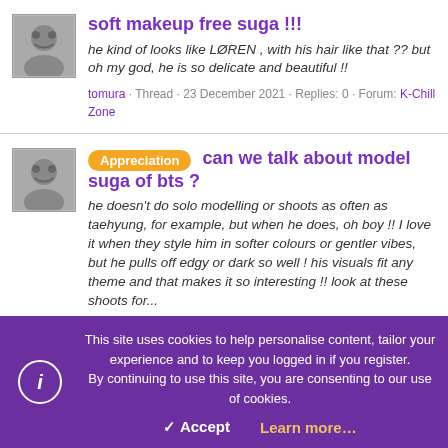soft makeup free suga !!!
he kind of looks like LØREN , with his hair like that ?? but oh my god, he is so delicate and beautiful !!
tomura · Thread · 23 December 2021 · Replies: 0 · Forum: K-Chill Zone
Appreciation can we talk about model suga of bts ?
he doesn't do solo modelling or shoots as often as taehyung, for example, but when he does, oh boy !! I love it when they style him in softer colours or gentler vibes, but he pulls off edgy or dark so well ! his visuals fit any theme and that makes it so interesting !! look at these shoots for...
tomura · Thread · 21 December 2021 · Replies: 4 · Forum: K-Chill Zone
This site uses cookies to help personalise content, tailor your experience and to keep you logged in if you register.
By continuing to use this site, you are consenting to our use of cookies.
✓ Accept   Learn more…